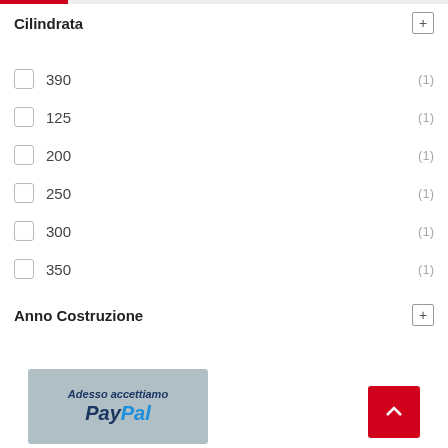Cilindrata
390 (1)
125 (1)
200 (1)
250 (1)
300 (1)
350 (1)
Anno Costruzione
[Figure (logo): PayPal payment banner: 'Adesso accettiamo PayPal' on grey background]
[Figure (other): Red scroll-to-top button with upward chevron arrow]